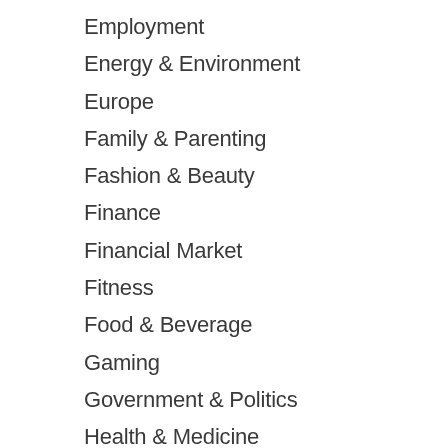Employment
Energy & Environment
Europe
Family & Parenting
Fashion & Beauty
Finance
Financial Market
Fitness
Food & Beverage
Gaming
Government & Politics
Health & Medicine
Home & Garden
Hospitality